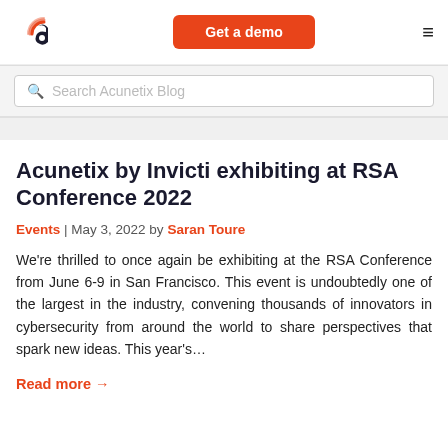Get a demo
Search Acunetix Blog
Acunetix by Invicti exhibiting at RSA Conference 2022
Events | May 3, 2022 by Saran Toure
We're thrilled to once again be exhibiting at the RSA Conference from June 6-9 in San Francisco. This event is undoubtedly one of the largest in the industry, convening thousands of innovators in cybersecurity from around the world to share perspectives that spark new ideas. This year's...
Read more →